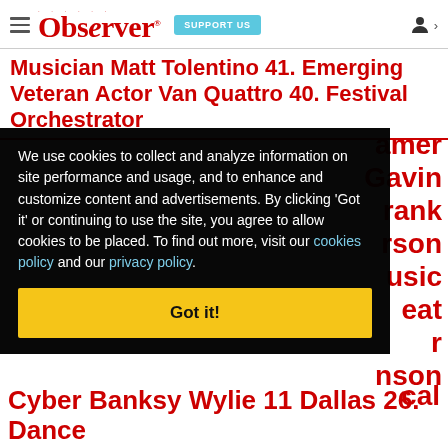Observer — SUPPORT US
Musician Matt Tolentino 41. Emerging Veteran Actor Van Quattro 40. Festival Orchestrator
We use cookies to collect and analyze information on site performance and usage, and to enhance and customize content and advertisements. By clicking 'Got it' or continuing to use the site, you agree to allow cookies to be placed. To find out more, visit our cookies policy and our privacy policy.
Got it!
amer Gavin rank rson usic eat r nson cal Cyber Banksy Wylie 11 Dallas 26. Dance